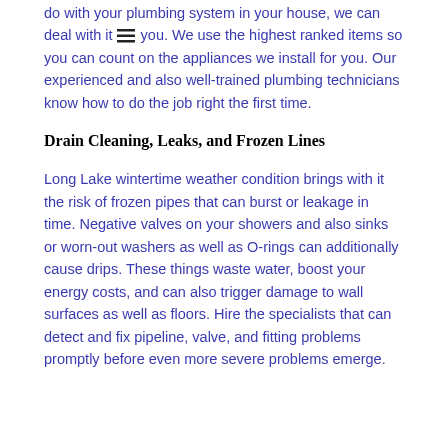do with your plumbing system in your house, we can deal with it [menu icon] you. We use the highest ranked items so you can count on the appliances we install for you. Our experienced and also well-trained plumbing technicians know how to do the job right the first time.
Drain Cleaning, Leaks, and Frozen Lines
Long Lake wintertime weather condition brings with it the risk of frozen pipes that can burst or leakage in time. Negative valves on your showers and also sinks or worn-out washers as well as O-rings can additionally cause drips. These things waste water, boost your energy costs, and can also trigger damage to wall surfaces as well as floors. Hire the specialists that can detect and fix pipeline, valve, and fitting problems promptly before even more severe problems emerge.